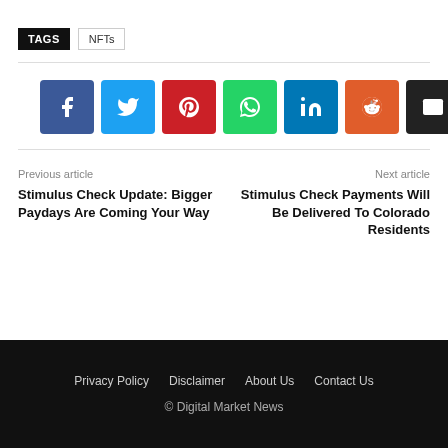TAGS   NFTs
[Figure (infographic): Social sharing buttons: Facebook, Twitter, Pinterest, WhatsApp, LinkedIn, Reddit, Email, More (+)]
Previous article
Stimulus Check Update: Bigger Paydays Are Coming Your Way
Next article
Stimulus Check Payments Will Be Delivered To Colorado Residents
Privacy Policy   Disclaimer   About Us   Contact Us
© Digital Market News